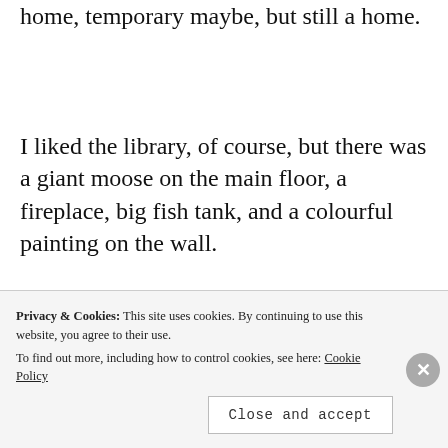home, temporary maybe, but still a home.
I liked the library, of course, but there was a giant moose on the main floor, a fireplace, big fish tank, and a colourful painting on the wall.
[Figure (photo): A colourful abstract painting with vibrant reds, oranges, blues, and greens, with the partial text 'BE HAP' visible on the right side.]
Privacy & Cookies: This site uses cookies. By continuing to use this website, you agree to their use.
To find out more, including how to control cookies, see here: Cookie Policy
Close and accept